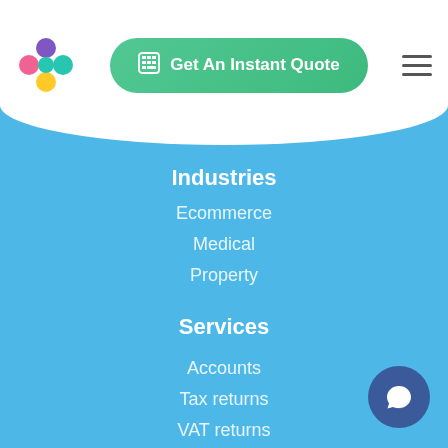[Figure (logo): Colorful circular logo with pink, teal, purple, and yellow dots arranged in a cross/flower shape]
[Figure (other): Green rounded-rectangle CTA button with calculator icon and text 'Get An Instant Quote']
[Figure (other): Hamburger menu icon (three horizontal lines)]
Industries
Ecommerce
Medical
Property
Services
Accounts
Tax returns
VAT returns
Bookkeeping
Payroll
CIS Returns